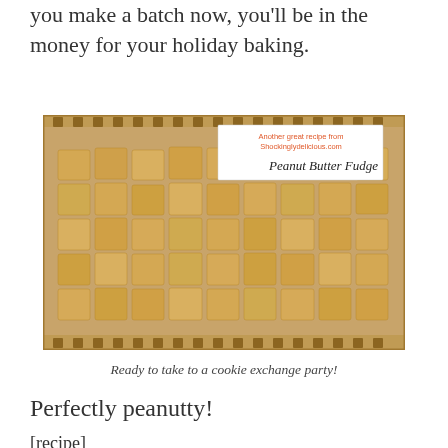you make a batch now, you'll be in the money for your holiday baking.
[Figure (photo): Peanut butter fudge pieces arranged on a wooden board/tray, with a label card reading 'Another great recipe from Shockinglydelicious.com Peanut Butter Fudge']
Ready to take to a cookie exchange party!
Perfectly peanutty!
[recipe]